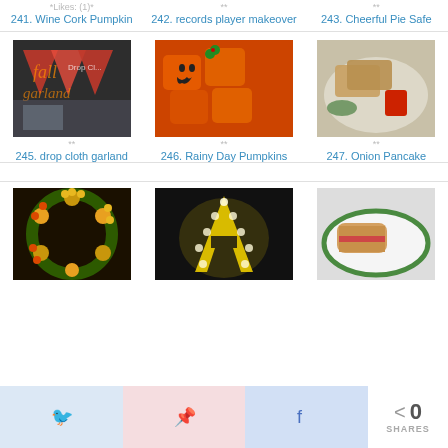*Likes: (1)*
**
**
241. Wine Cork Pumpkin
242. records player makeover
243. Cheerful Pie Safe
[Figure (photo): Fall drop cloth garland with red triangular bunting flags]
[Figure (photo): Rainy Day Pumpkins - orange box-shaped pumpkins with jack-o-lantern faces]
[Figure (photo): Onion Pancake - bread/toast with red dipping sauce]
**
**
**
245. drop cloth garland
246. Rainy Day Pumpkins
247. Onion Pancake
[Figure (photo): Sunflower wreath with yellow and orange flowers]
[Figure (photo): Illuminated marquee letter A light fixture]
[Figure (photo): Sandwich/pastry food item on plate]
0 SHARES
Twitter share button
Pinterest share button
Facebook share button